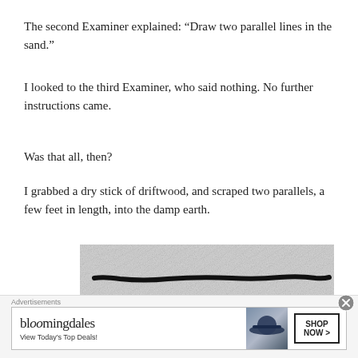The second Examiner explained: “Draw two parallel lines in the sand.”
I looked to the third Examiner, who said nothing. No further instructions came.
Was that all, then?
I grabbed a dry stick of driftwood, and scraped two parallels, a few feet in length, into the damp earth.
[Figure (illustration): A hand-drawn or illustrated image showing two parallel dark lines drawn in sand or damp earth, on a textured light-grey background.]
Advertisements
[Figure (other): Bloomingdale's advertisement banner: 'bloomingdales View Today’s Top Deals!' with a woman in a hat and 'SHOP NOW >' button.]